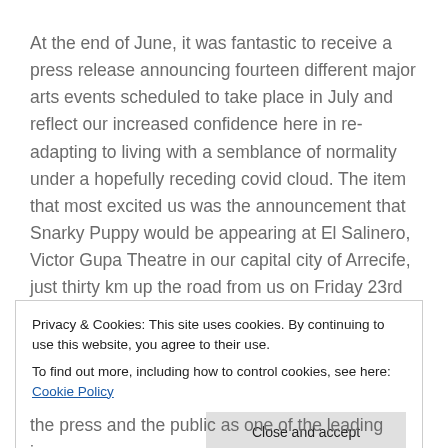At the end of June, it was fantastic to receive a press release announcing fourteen different major arts events scheduled to take place in July and reflect our increased confidence here in re-adapting to living with a semblance of normality under a hopefully receding covid cloud. The item that most excited us was the announcement that Snarky Puppy would be appearing at El Salinero, Victor Gupa Theatre in our capital city of Arrecife, just thirty km up the road from us on Friday 23rd July. We were promised a 75 minute performance as part of the 20th International Festival
Privacy & Cookies: This site uses cookies. By continuing to use this website, you agree to their use.
To find out more, including how to control cookies, see here: Cookie Policy
the press and the public as one of the leading jazz